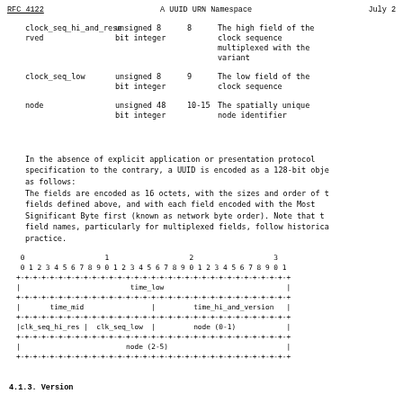RFC 4122    A UUID URN Namespace    July 2
| Field | Type | Octet | Notes |
| --- | --- | --- | --- |
| clock_seq_hi_and_reserved | unsigned 8 bit integer | 8 | The high field of the clock sequence multiplexed with the variant |
| clock_seq_low | unsigned 8 bit integer | 9 | The low field of the clock sequence |
| node | unsigned 48 bit integer | 10-15 | The spatially unique node identifier |
In the absence of explicit application or presentation protocol specification to the contrary, a UUID is encoded as a 128-bit obje as follows:
The fields are encoded as 16 octets, with the sizes and order of t fields defined above, and with each field encoded with the Most Significant Byte first (known as network byte order).  Note that t field names, particularly for multiplexed fields, follow historica practice.
[Figure (engineering-diagram): Bit layout diagram showing UUID fields: time_low (bits 0-31), time_mid and time_hi_and_version (bits 32-63), clk_seq_hi_res, clk_seq_low, node(0-1) (bits 64-95), node(2-5) (bits 96-127)]
4.1.3.  Version